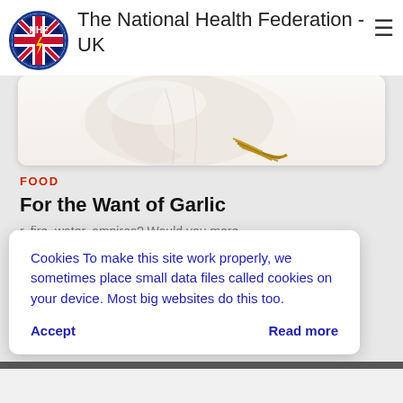[Figure (logo): NHF circular logo with UK flag and lightning bolt]
The National Health Federation - UK
[Figure (photo): Close-up photo of a garlic bulb on white background]
FOOD
For the Want of Garlic
r, fire, water, ampires? Would you more...
Cookies To make this site work properly, we sometimes place small data files called cookies on your device. Most big websites do this too.
Accept
Read more